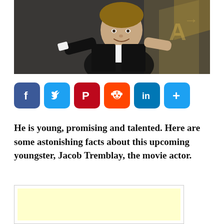[Figure (photo): Young boy in black tuxedo with white shirt, posing at what appears to be an awards event with a gold backdrop, making a thumbs up / finger gun gesture]
[Figure (infographic): Social media share buttons: Facebook (blue), Twitter (light blue), Pinterest (red), Reddit (orange-red), LinkedIn (blue), Share/Plus (blue)]
He is young, promising and talented. Here are some astonishing facts about this upcoming youngster, Jacob Tremblay, the movie actor.
[Figure (other): Advertisement placeholder box with light yellow background]